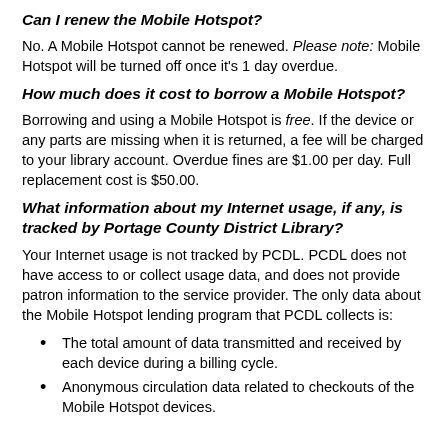Can I renew the Mobile Hotspot?
No. A Mobile Hotspot cannot be renewed. Please note: Mobile Hotspot will be turned off once it's 1 day overdue.
How much does it cost to borrow a Mobile Hotspot?
Borrowing and using a Mobile Hotspot is free. If the device or any parts are missing when it is returned, a fee will be charged to your library account. Overdue fines are $1.00 per day. Full replacement cost is $50.00.
What information about my Internet usage, if any, is tracked by Portage County District Library?
Your Internet usage is not tracked by PCDL. PCDL does not have access to or collect usage data, and does not provide patron information to the service provider. The only data about the Mobile Hotspot lending program that PCDL collects is:
The total amount of data transmitted and received by each device during a billing cycle.
Anonymous circulation data related to checkouts of the Mobile Hotspot devices.